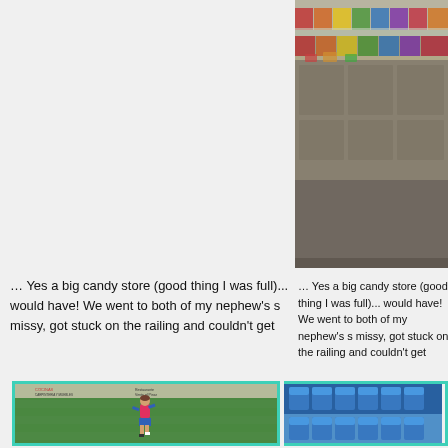[Figure (photo): Partial view of a candy store interior showing colorful candy bins/display cases along a counter, with shelving and jars of candy visible. Image is cropped showing only the right portion of a wider scene.]
… Yes a big candy store (good thing I was full)... would have! We went to both of my nephew's s missy, got stuck on the railing and couldn't get
[Figure (photo): A young child in a pink/red jersey and blue shorts running on a green artificial turf soccer field. Signs in Spanish including 'COCINAS CARPINTERIA Y MUEBLES' visible in background. Teal/green border around photo.]
[Figure (photo): Blue stadium seats/bleachers visible at right edge of frame.]